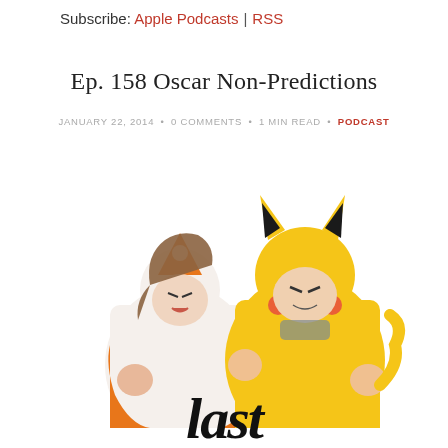Subscribe: Apple Podcasts | RSS
Ep. 158 Oscar Non-Predictions
JANUARY 22, 2014 • 0 COMMENTS • 1 MIN READ • PODCAST
[Figure (photo): Two women in Pokemon onesie costumes (one white Charizard-style, one yellow Pikachu) posing with fists raised in a fighting stance against a white background]
last